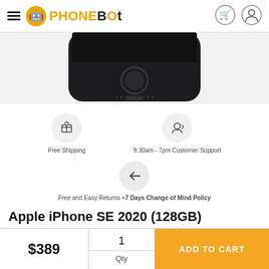PhoneBot - navigation header with hamburger menu, logo, cart icon, and user icon
[Figure (photo): Bottom portion of a black iPhone (Apple iPhone SE 2020) showing the home button and lower half of the device against a light gray background]
Free Shipping
9.30am - 7pm Customer Support
Free and Easy Returns +7 Days Change of Mind Policy
Apple iPhone SE 2020 (128GB)
Free Extras Worth $57
$389
1 Qty
ADD TO CART